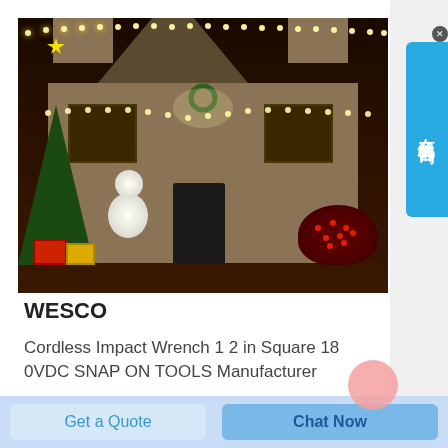[Figure (photo): Christmas decorated house at night with string lights, snowman, Christmas tree, and colorful decorations in the front yard]
WESCO
Cordless Impact Wrench 1 2 in Square 18 0VDC SNAP ON TOOLS Manufacturer
[Figure (other): Sidebar chat widget button with Chinese text 在线咨询 (Online Consultation) in blue]
Get a Quote
Chat Now